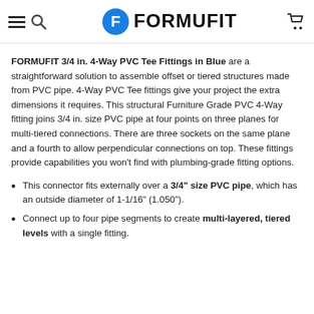FORMUFIT (logo with hamburger, search, cart icons)
FORMUFIT 3/4 in. 4-Way PVC Tee Fittings in Blue are a straightforward solution to assemble offset or tiered structures made from PVC pipe. 4-Way PVC Tee fittings give your project the extra dimensions it requires. This structural Furniture Grade PVC 4-Way fitting joins 3/4 in. size PVC pipe at four points on three planes for multi-tiered connections. There are three sockets on the same plane and a fourth to allow perpendicular connections on top. These fittings provide capabilities you won't find with plumbing-grade fitting options.
This connector fits externally over a 3/4" size PVC pipe, which has an outside diameter of 1-1/16" (1.050").
Connect up to four pipe segments to create multi-layered, tiered levels with a single fitting.